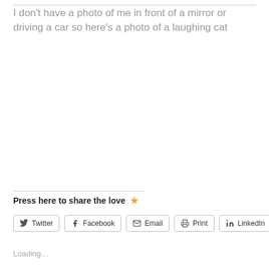I don't have a photo of me in front of a mirror or driving a car so here's a photo of a laughing cat
Press here to share the love ★
[Figure (other): Social sharing buttons: Twitter, Facebook, Email, Print, LinkedIn]
Loading...